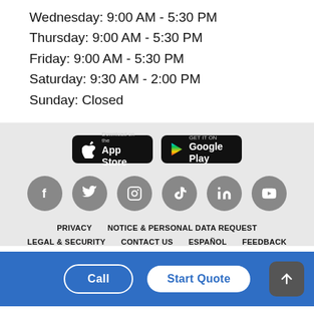Wednesday: 9:00 AM - 5:30 PM
Thursday: 9:00 AM - 5:30 PM
Friday: 9:00 AM - 5:30 PM
Saturday: 9:30 AM - 2:00 PM
Sunday: Closed
[Figure (logo): Download on the App Store button]
[Figure (logo): Get it on Google Play button]
[Figure (infographic): Social media icons: Facebook, Twitter, Instagram, TikTok, LinkedIn, YouTube]
PRIVACY   NOTICE & PERSONAL DATA REQUEST   LEGAL & SECURITY   CONTACT US   ESPAÑOL   FEEDBACK
Call   Start Quote